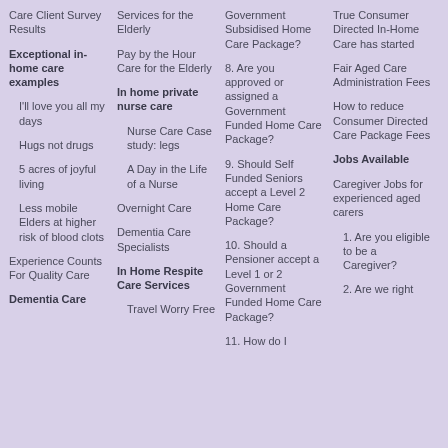Care Client Survey Results
Exceptional in-home care examples
I'll love you all my days
Hugs not drugs
5 acres of joyful living
Less mobile Elders at higher risk of blood clots
Experience Counts For Quality Care
Dementia Care
Services for the Elderly
Pay by the Hour Care for the Elderly
In home private nurse care
Nurse Care Case study: legs
A Day in the Life of a Nurse
Overnight Care
Dementia Care Specialists
In Home Respite Care Services
Travel Worry Free
Government Subsidised Home Care Package?
8. Are you approved or assigned a Government Funded Home Care Package?
9. Should Self Funded Seniors accept a Level 2 Home Care Package?
10. Should a Pensioner accept a Level 1 or 2 Government Funded Home Care Package?
11. How do I
True Consumer Directed In-Home Care has started
Fair Aged Care Administration Fees
How to reduce Consumer Directed Care Package Fees
Jobs Available
Caregiver Jobs for experienced aged carers
1. Are you eligible to be a Caregiver?
2. Are we right